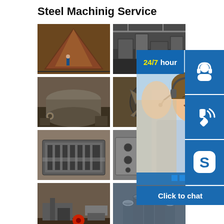Steel Machinig Service
[Figure (photo): Grid of 8 steel machining and fabrication photos showing large metal structures, tanks, turbine components, machined parts, and steel pipes in industrial settings]
[Figure (infographic): Customer service chat widget showing '24/7 hour' label in yellow on blue, headset icon, phone icon, Skype icon, a smiling customer service representative with headset, and a 'Click to chat' button bar at the bottom]